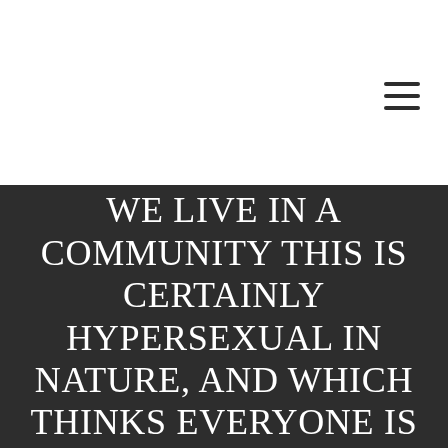[Figure (other): Hamburger menu icon (three horizontal lines) in top-right area of white header section]
WE LIVE IN A COMMUNITY THIS IS CERTAINLY HYPERSEXUAL IN NATURE, AND WHICH THINKS EVERYONE IS